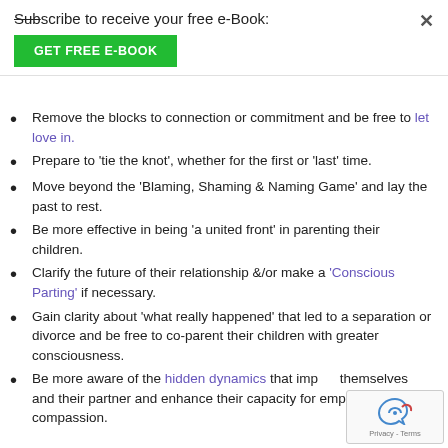Subscribe to receive your free e-Book:
GET FREE E-BOOK
Remove the blocks to connection or commitment and be free to let love in.
Prepare to 'tie the knot', whether for the first or 'last' time.
Move beyond the 'Blaming, Shaming & Naming Game' and lay the past to rest.
Be more effective in being 'a united front' in parenting their children.
Clarify the future of their relationship &/or make a 'Conscious Parting' if necessary.
Gain clarity about 'what really happened' that led to a separation or divorce and be free to co-parent their children with greater consciousness.
Be more aware of the hidden dynamics that impact themselves and their partner and enhance their capacity for empathy and compassion.